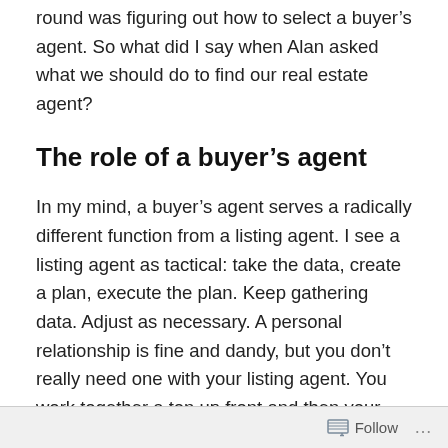round was figuring out how to select a buyer's agent. So what did I say when Alan asked what we should do to find our real estate agent?
The role of a buyer's agent
In my mind, a buyer's agent serves a radically different function from a listing agent. I see a listing agent as tactical: take the data, create a plan, execute the plan. Keep gathering data. Adjust as necessary. A personal relationship is fine and dandy, but you don't really need one with your listing agent. You work together a ton up front and then your touches are sporadic until you have an offer.
Follow ...